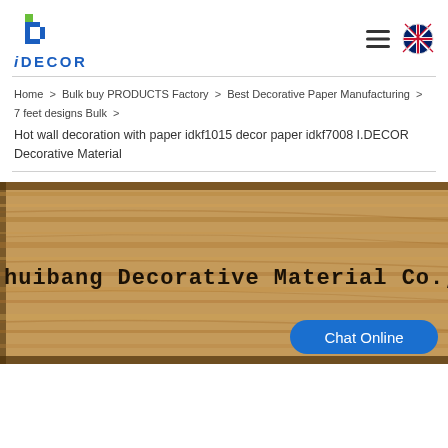[Figure (logo): iDECOR logo with stylized 'd' icon in blue and green, with text 'iDECOR' in blue below]
Home > Bulk buy PRODUCTS Factory > Best Decorative Paper Manufacturing > 7 feet designs Bulk >
Hot wall decoration with paper idkf1015 decor paper idkf7008 I.DECOR Decorative Material
[Figure (photo): Wood texture banner with text 'huibang Decorative Material Co., Ltd.' in monospace font, and a 'Chat Online' blue rounded button in the lower right corner]